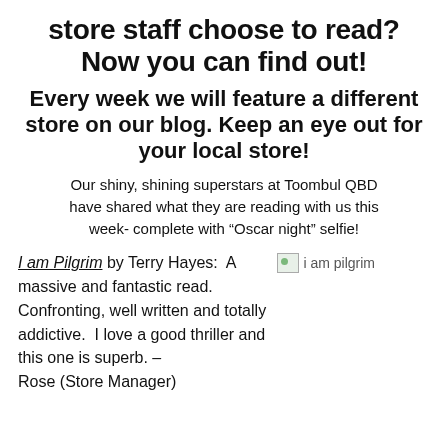store staff choose to read? Now you can find out!
Every week we will feature a different store on our blog. Keep an eye out for your local store!
Our shiny, shining superstars at Toombul QBD have shared what they are reading with us this week- complete with “Oscar night” selfie!
I am Pilgrim by Terry Hayes:  A massive and fantastic read.  Confronting, well written and totally addictive.  I love a good thriller and this one is superb. – Rose (Store Manager)
[Figure (illustration): Book cover placeholder image for 'i am pilgrim']